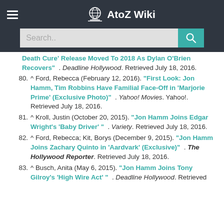AtoZ Wiki
Death Cure' Release Moved To 2018 As Dylan O'Brien Recovers" . Deadline Hollywood. Retrieved July 18, 2016.
80. ^ Ford, Rebecca (February 12, 2016). "First Look: Jon Hamm, Tim Robbins Have Familial Face-Off in 'Marjorie Prime' (Exclusive Photo)" . Yahoo! Movies. Yahoo!. Retrieved July 18, 2016.
81. ^ Kroll, Justin (October 20, 2015). "Jon Hamm Joins Edgar Wright's 'Baby Driver' " . Variety. Retrieved July 18, 2016.
82. ^ Ford, Rebecca; Kit, Borys (December 9, 2015). "Jon Hamm Joins Zachary Quinto in 'Aardvark' (Exclusive)" . The Hollywood Reporter. Retrieved July 18, 2016.
83. ^ Busch, Anita (May 6, 2015). "Jon Hamm Joins Tony Gilroy's 'High Wire Act' " . Deadline Hollywood. Retrieved